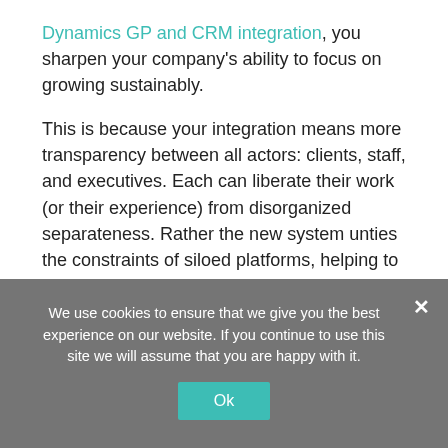Dynamics GP and CRM integration, you sharpen your company's ability to focus on growing sustainably.
This is because your integration means more transparency between all actors: clients, staff, and executives. Each can liberate their work (or their experience) from disorganized separateness. Rather the new system unties the constraints of siloed platforms, helping to put its data into market advantages and new capabilities coming from data replication and transfer—automatically.
We use cookies to ensure that we give you the best experience on our website. If you continue to use this site we will assume that you are happy with it.